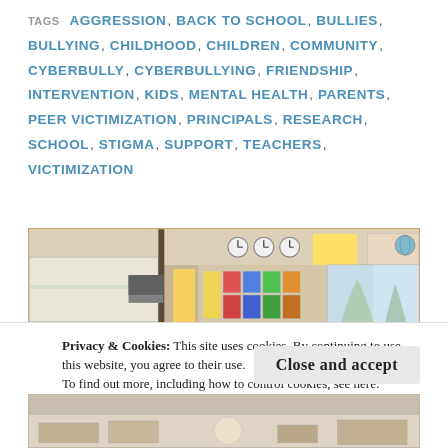TAGS  AGGRESSION, BACK TO SCHOOL, BULLIES, BULLYING, CHILDHOOD, CHILDREN, COMMUNITY, CYBERBULLY, CYBERBULLYING, FRIENDSHIP, INTERVENTION, KIDS, MENTAL HEALTH, PARENTS, PEER VICTIMIZATION, PRINCIPALS, RESEARCH, SCHOOL, STIGMA, SUPPORT, TEACHERS, VICTIMIZATION
[Figure (photo): Interior of an elementary school classroom showing clocks on the wall, colorful student work displays, a whiteboard, and windows with trees visible outside.]
Privacy & Cookies: This site uses cookies. By continuing to use this website, you agree to their use.
To find out more, including how to control cookies, see here:
Cookie Policy
Close and accept
[Figure (photo): Partial view of another classroom or school setting, cropped at the bottom of the page.]